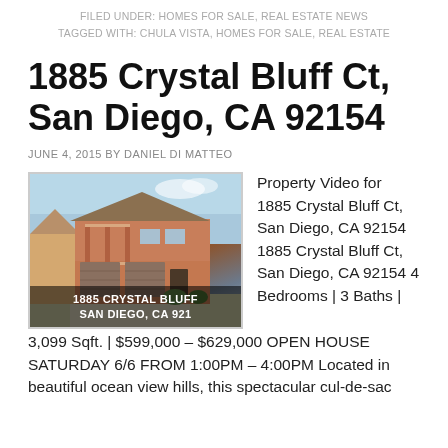FILED UNDER: HOMES FOR SALE, REAL ESTATE NEWS
TAGGED WITH: CHULA VISTA, HOMES FOR SALE, REAL ESTATE
1885 Crystal Bluff Ct, San Diego, CA 92154
JUNE 4, 2015 BY DANIEL DI MATTEO
[Figure (photo): Photo of house at 1885 Crystal Bluff Ct, San Diego, CA 92154 with overlay text '1885 CRYSTAL BLUFF SAN DIEGO, CA 921']
Property Video for 1885 Crystal Bluff Ct, San Diego, CA 92154 1885 Crystal Bluff Ct, San Diego, CA 92154 4 Bedrooms | 3 Baths | 3,099 Sqft. | $599,000 – $629,000 OPEN HOUSE SATURDAY 6/6 FROM 1:00PM – 4:00PM Located in beautiful ocean view hills, this spectacular cul-de-sac